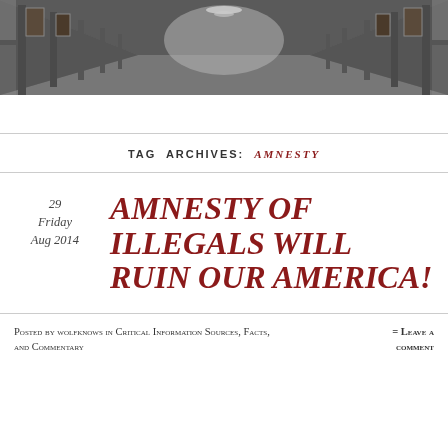[Figure (photo): Black and white photo of a grand hallway with columns, paintings on walls, and a chandelier visible in the distance]
TAG ARCHIVES: AMNESTY
29
Friday
Aug 2014
AMNESTY OF ILLEGALS WILL RUIN OUR AMERICA!
Posted by wolfknows in Critical Information Sources, Facts, and Commentary
= Leave a comment